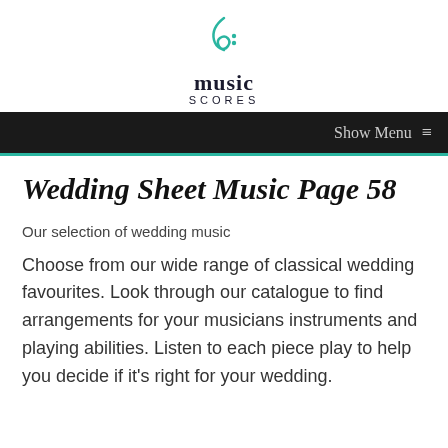[Figure (logo): Music Scores logo: a teal treble/bass clef symbol above the text 'music SCORES']
Show Menu ≡
Wedding Sheet Music Page 58
Our selection of wedding music
Choose from our wide range of classical wedding favourites. Look through our catalogue to find arrangements for your musicians instruments and playing abilities. Listen to each piece play to help you decide if it's right for your wedding.